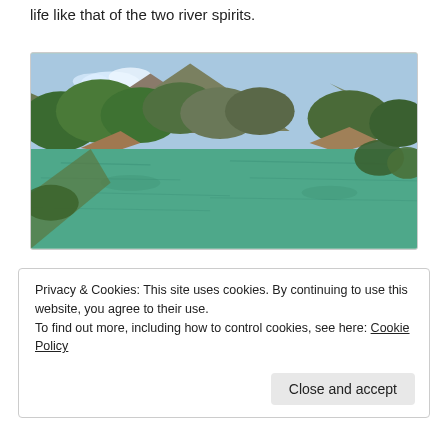life like that of the two river spirits.
[Figure (photo): A scenic river or lake surrounded by forested mountains under a partly cloudy sky. The water is a clear teal-green color reflecting the hills. Lush green trees cover steep mountain slopes on both sides.]
Privacy & Cookies: This site uses cookies. By continuing to use this website, you agree to their use.
To find out more, including how to control cookies, see here: Cookie Policy
Close and accept